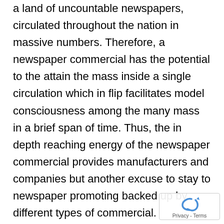a land of uncountable newspapers, circulated throughout the nation in massive numbers. Therefore, a newspaper commercial has the potential to the attain the mass inside a single circulation which in flip facilitates model consciousness among the many mass in a brief span of time. Thus, the in depth reaching energy of the newspaper commercial provides manufacturers and companies but another excuse to stay to newspaper promoting backed up by different types of commercial. Maximises Sensory Enchantment The only motive to promote a model title is to extend its reputation thereby encouraging the gross sales course of. With the assistance of web and expertise, manufacturers in immediately's world c... show a newspaper commercial that can enchantr...